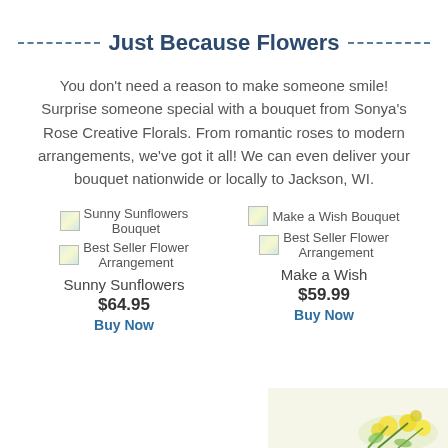Just Because Flowers
You don't need a reason to make someone smile! Surprise someone special with a bouquet from Sonya's Rose Creative Florals. From romantic roses to modern arrangements, we've got it all! We can even deliver your bouquet nationwide or locally to Jackson, WI.
[Figure (photo): Sunny Sunflowers Bouquet product image placeholder]
Sunny Sunflowers
$64.95
Buy Now
[Figure (photo): Make a Wish Bouquet product image placeholder]
Make a Wish
$59.99
Buy Now
[Figure (photo): Flower bouquet photo at bottom right corner]